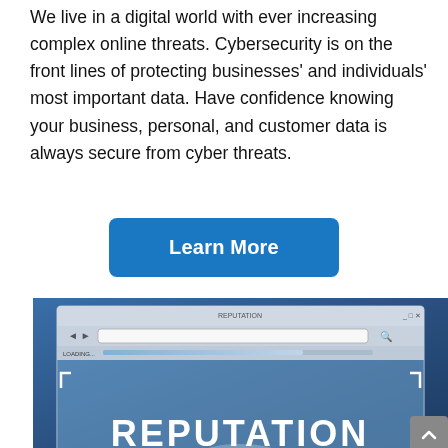We live in a digital world with ever increasing complex online threats. Cybersecurity is on the front lines of protecting businesses' and individuals' most important data. Have confidence knowing your business, personal, and customer data is always secure from cyber threats.
[Figure (other): A blue 'Learn More' button]
[Figure (screenshot): A browser window screenshot showing a loading bar and the word REPUTATION displayed in large white text on a blue gradient background. The browser window has navigation arrows, an address bar, and window controls. A loading bar reads 'LOADING...'. Corner brackets frame the content area.]